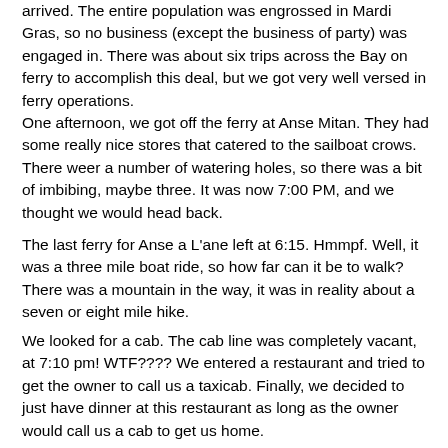arrived. The entire population was engrossed in Mardi Gras, so no business (except the business of party) was engaged in. There was about six trips across the Bay on ferry to accomplish this deal, but we got very well versed in ferry operations.
One afternoon, we got off the ferry at Anse Mitan. They had some really nice stores that catered to the sailboat crows. There weer a number of watering holes, so there was a bit of imbibing, maybe three. It was now 7:00 PM, and we thought we would head back.
The last ferry for Anse a L'ane left at 6:15. Hmmpf. Well, it was a three mile boat ride, so how far can it be to walk? There was a mountain in the way, it was in reality about a seven or eight mile hike.
We looked for a cab. The cab line was completely vacant, at 7:10 pm! WTF???? We entered a restaurant and tried to get the owner to call us a taxicab. Finally, we decided to just have dinner at this restaurant as long as the owner would call us a cab to get us home.